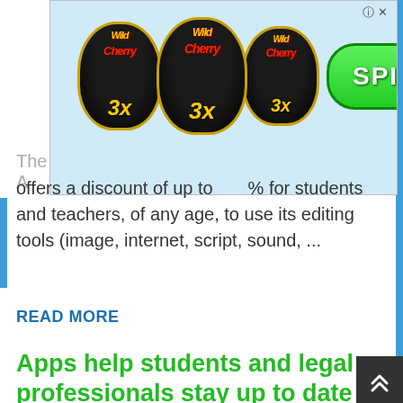[Figure (screenshot): Wild Cherry 3x slot machine advertisement banner with three circular logos and a green SPIN button, with close (x) and help (?) icons]
The ... e offers a discount of up to ...% for students and teachers, of any age, to use its editing tools (image, internet, script, sound, ...
READ MORE
Apps help students and legal professionals stay up to date
APPLICATIONS
[Figure (photo): Smartphone displaying a quiz app screen next to a teal/turquoise notebook on a wooden surface]